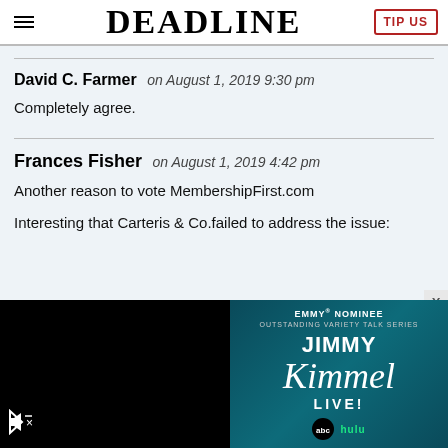DEADLINE | TIP US
David C. Farmer on August 1, 2019 9:30 pm
Completely agree.
Frances Fisher on August 1, 2019 4:42 pm
Another reason to vote MembershipFirst.com
Interesting that Carteris & Co.failed to address the issue:
[Figure (screenshot): Advertisement banner for Jimmy Kimmel Live! Emmy Nominee Outstanding Variety Talk Series, with ABC and Hulu streaming logos on a teal/dark background. Left side shows a black video player area with muted speaker icon.]